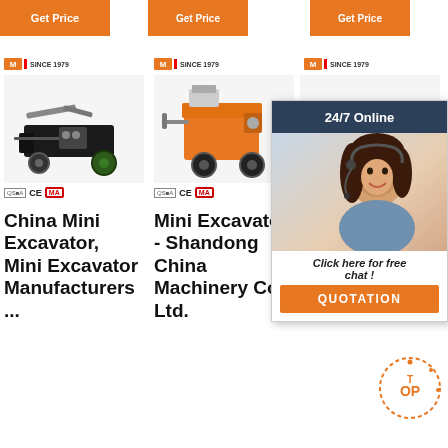[Figure (screenshot): Top orange Get Price buttons row]
[Figure (photo): Product image: small black trailer/mini excavator with wheels, brand logo MS SINCE 1979, CE and MA certification marks]
[Figure (photo): Product image: orange mini excavator/plastering machine on wheels, brand logo MS SINCE 1979, CE and MA certification marks]
[Figure (photo): Product image: third product partially visible, brand logo MS SINCE 1979, certification marks]
China Mini Excavator, Mini Excavator Manufacturers ...
Mini Excavator - Shandong China Machinery Co., Ltd.
China ... Top ... Excavator (XE40) For Sale China ...
[Figure (screenshot): 24/7 Online chat overlay with agent photo, Click here for free chat!, QUOTATION button]
[Figure (logo): TOP badge circular logo in orange/red]